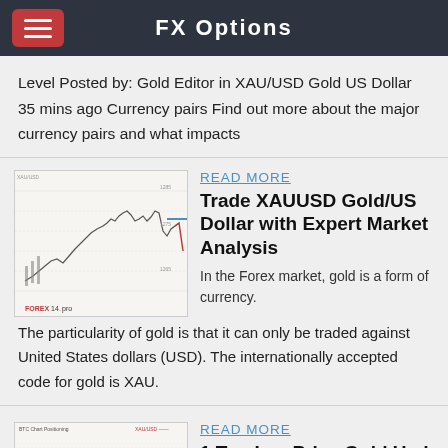FX Options
Level Posted by: Gold Editor in XAU/USD Gold US Dollar 35 mins ago Currency pairs Find out more about the major currency pairs and what impacts
[Figure (continuous-plot): XAU/USD candlestick/line chart from forex14.pro showing gold price movements]
READ MORE
Trade XAUUSD Gold/US Dollar with Expert Market Analysis
In the Forex market, gold is a form of currency. The particularity of gold is that it can only be traded against United States dollars (USD). The internationally accepted code for gold is XAU.
[Figure (continuous-plot): XAU/USD chart with pink shading and candlestick data, showing BTC chart positioning]
READ MORE
1 Top LowPrice Gold Usd Forex Spot Xau Hot